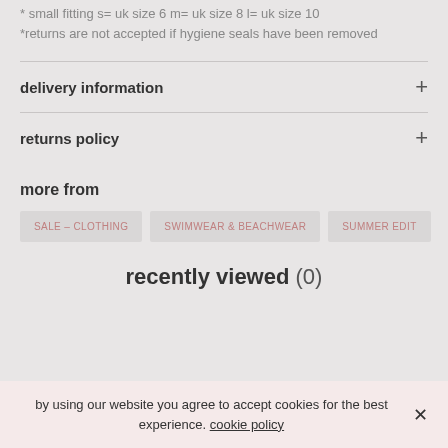* small fitting s= uk size 6 m= uk size 8 l= uk size 10
*returns are not accepted if hygiene seals have been removed
delivery information
returns policy
more from
SALE – CLOTHING
SWIMWEAR & BEACHWEAR
SUMMER EDIT
recently viewed (0)
by using our website you agree to accept cookies for the best experience. cookie policy